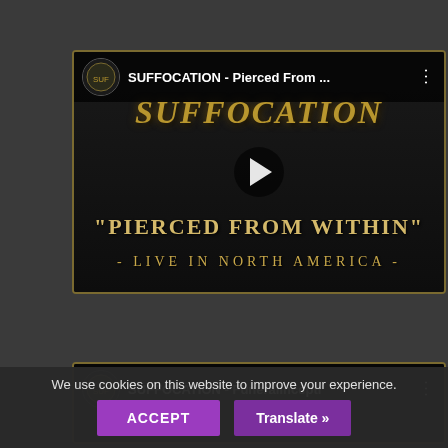[Figure (screenshot): YouTube video thumbnail for SUFFOCATION - Pierced From Within, Live in North America. Shows the Suffocation band logo in gold/olive text, a play button, and text 'PIERCED FROM WITHIN' and '- LIVE IN NORTH AMERICA -' on a dark background.]
[Figure (screenshot): Partial YouTube video thumbnail for SUFFOCATION - FuneralIncepti (truncated), showing the channel icon and title bar.]
We use cookies on this website to improve your experience.
ACCEPT
Translate »